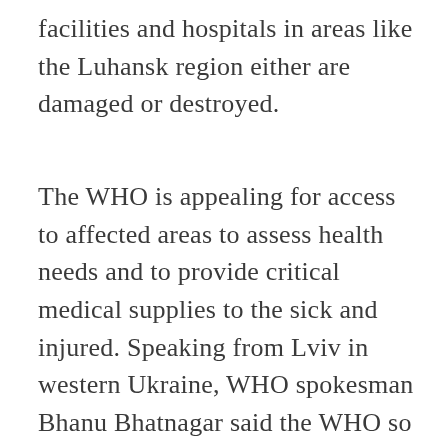facilities and hospitals in areas like the Luhansk region either are damaged or destroyed.
The WHO is appealing for access to affected areas to assess health needs and to provide critical medical supplies to the sick and injured. Speaking from Lviv in western Ukraine, WHO spokesman Bhanu Bhatnagar said the WHO so far has not been able to enter Mariupol and does not know the health status of the besieged population.